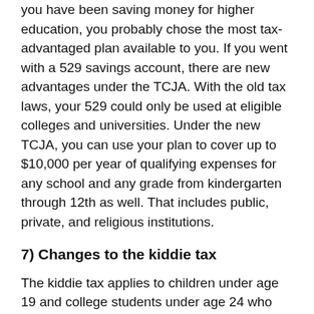you have been saving money for higher education, you probably chose the most tax-advantaged plan available to you. If you went with a 529 savings account, there are new advantages under the TCJA. With the old tax laws, your 529 could only be used at eligible colleges and universities. Under the new TCJA, you can use your plan to cover up to $10,000 per year of qualifying expenses for any school and any grade from kindergarten through 12th as well. That includes public, private, and religious institutions.
7) Changes to the kiddie tax
The kiddie tax applies to children under age 19 and college students under age 24 who have unearned income over $2,100. Unearned income can mean dividends, capital gains or interest on investments. Following the tax law changes, qualifying income will